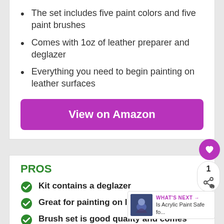The set includes five paint colors and five paint brushes
Comes with 1oz of leather preparer and deglazer
Everything you need to begin painting on leather surfaces
View on Amazon
PROS
Kit contains a deglazer
Great for painting on leather shoes
Brush set is good quality and comes with a variety of brush sizes